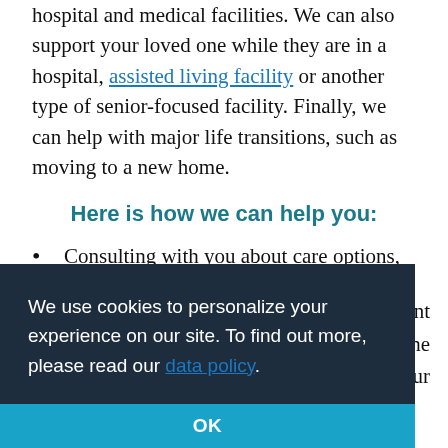hospital and medical facilities. We can also support your loved one while they are in a hospital, assisted living facility or another type of senior-focused facility. Finally, we can help with major life transitions, such as moving to a new home.
Here is how we can help you:
Consulting with you about care options, the cost of care, schedules
We use cookies to personalize your experience on our site. To find out more, please read our data policy.
OK
Coordinating a meeting with potential